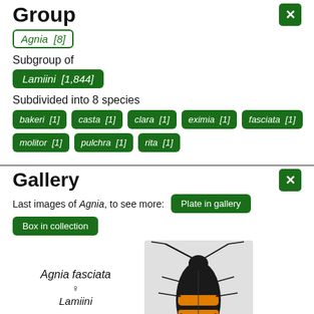Group
Agnia [8]
Subgroup of
Lamiini [1,844]
Subdivided into 8 species
bakeri [1]
casta [1]
clara [1]
eximia [1]
fasciata [1]
molitor [1]
pulchra [1]
rita [1]
Gallery
Last images of Agnia, to see more: Plate in gallery
Box in collection
[Figure (photo): Photo of Agnia fasciata female beetle specimen, showing dorsal view with black and orange banded abdomen and long antennae]
Agnia fasciata ♀ Lamiini